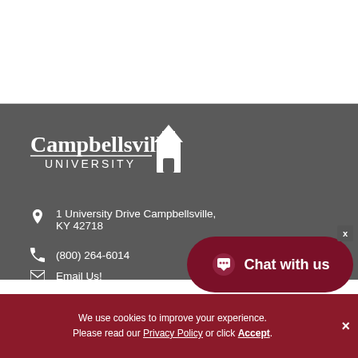[Figure (logo): Campbellsville University logo in white on gray background]
1 University Drive Campbellsville, KY 42718
(800) 264-6014
Email Us!
[Figure (other): Chat with us button with speech bubble icon]
x
We use cookies to improve your experience. Please read our Privacy Policy or click Accept.